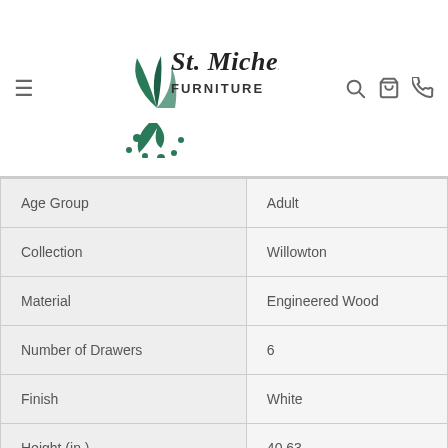St. Michel Furniture — navigation header with logo, hamburger menu, search, cart, and phone icons
| Age Group | Adult |
| Collection | Willowton |
| Material | Engineered Wood |
| Number of Drawers | 6 |
| Finish | White |
| Height (in.) | 40.63 |
| Depth (in.) | 15.75 |